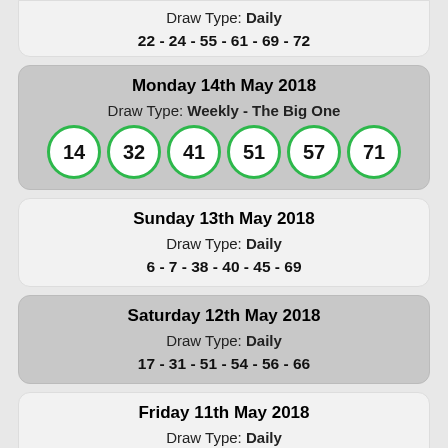Draw Type: Daily
22 - 24 - 55 - 61 - 69 - 72
Monday 14th May 2018
Draw Type: Weekly - The Big One
[Figure (other): Six lottery balls with numbers 14, 32, 41, 51, 57, 71 in green-bordered circles]
Sunday 13th May 2018
Draw Type: Daily
6 - 7 - 38 - 40 - 45 - 69
Saturday 12th May 2018
Draw Type: Daily
17 - 31 - 51 - 54 - 56 - 66
Friday 11th May 2018
Draw Type: Daily